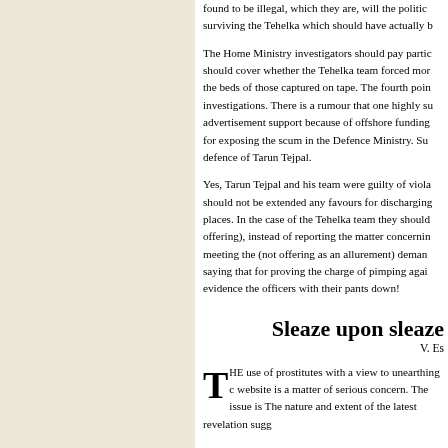found to be illegal, which they are, will the politic surviving the Tehelka which should have actually b
The Home Ministry investigators should pay partic should cover whether the Tehelka team forced mor the beds of those captured on tape. The fourth poin investigations. There is a rumour that one highly su advertisement support because of offshore funding for exposing the scum in the Defence Ministry. Su defence of Tarun Tejpal.
Yes, Tarun Tejpal and his team were guilty of viola should not be extended any favours for discharging places. In the case of the Tehelka team they should offering), instead of reporting the matter concernin meeting the (not offering as an allurement) deman saying that for proving the charge of pimping agai evidence the officers with their pants down!
Sleaze upon sleaze
V. Es
THE use of prostitutes with a view to unearthing c website is a matter of serious concern. The issue is The nature and extent of the latest revelation sugg